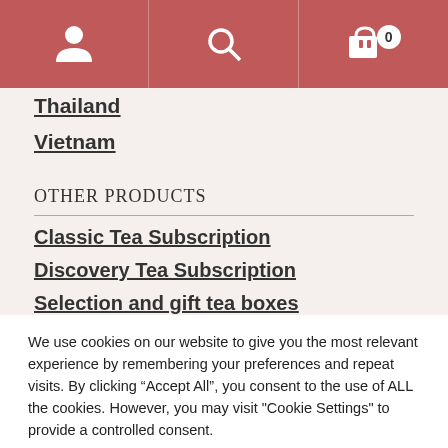Navigation header with account, search, and cart icons
Thailand
Vietnam
OTHER PRODUCTS
Classic Tea Subscription
Discovery Tea Subscription
Selection and gift tea boxes
We use cookies on our website to give you the most relevant experience by remembering your preferences and repeat visits. By clicking “Accept All”, you consent to the use of ALL the cookies. However, you may visit "Cookie Settings" to provide a controlled consent.
Cookie Settings | Accept All